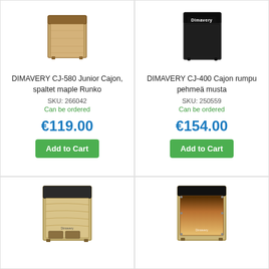[Figure (photo): DIMAVERY CJ-580 Junior Cajon product photo, spalted maple finish wooden box drum]
DIMAVERY CJ-580 Junior Cajon, spaltet maple Runko
SKU: 266042
Can be ordered
€119.00
Add to Cart
[Figure (photo): DIMAVERY CJ-400 Cajon product photo, black soft cajon drum with Dimavery logo]
DIMAVERY CJ-400 Cajon rumpu pehmeä musta
SKU: 250559
Can be ordered
€154.00
Add to Cart
[Figure (photo): DIMAVERY Cajon product photo bottom left, wooden cajon with dark top and open back compartments]
[Figure (photo): DIMAVERY Cajon product photo bottom right, cajon with gradient brown front panel and Dimavery logo]